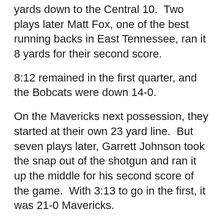yards down to the Central 10.  Two plays later Matt Fox, one of the best running backs in East Tennessee, ran it 8 yards for their second score.
8:12 remained in the first quarter, and the Bobcats were down 14-0.
On the Mavericks next possession, they started at their own 23 yard line.  But seven plays later, Garrett Johnson took the snap out of the shotgun and ran it up the middle for his second score of the game.  With 3:13 to go in the first, it was 21-0 Mavericks.
Things went from bad to worse on the Bobcats next possession when Austin Kirby's pass was picked off by Evan Green and brought back to the Central 14.  On the next play, Smith faked the handoff and right around the right side for